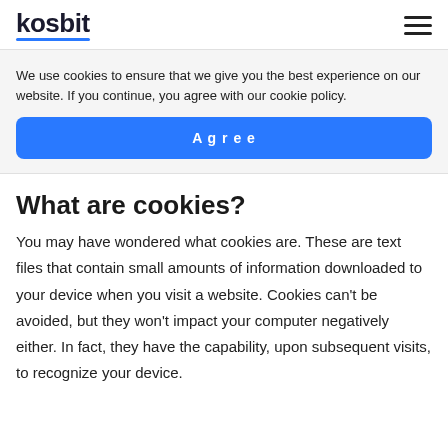kosbit
We use cookies to ensure that we give you the best experience on our website. If you continue, you agree with our cookie policy.
Agree
What are cookies?
You may have wondered what cookies are. These are text files that contain small amounts of information downloaded to your device when you visit a website. Cookies can't be avoided, but they won't impact your computer negatively either. In fact, they have the capability, upon subsequent visits, to recognize your device.